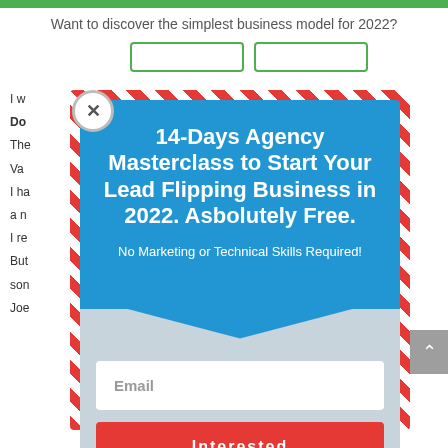Want to discover the simplest business model for 2022?
[Figure (screenshot): Popup modal overlay on a webpage with red-white striped border, blue header section, gray body, email input, and interested button]
14-Days Agency Masterclass to Start Your Lead Flipping Business in 2022. Asbolutely Free.
No Marketing or Technical Skills Required!
Email
Interested